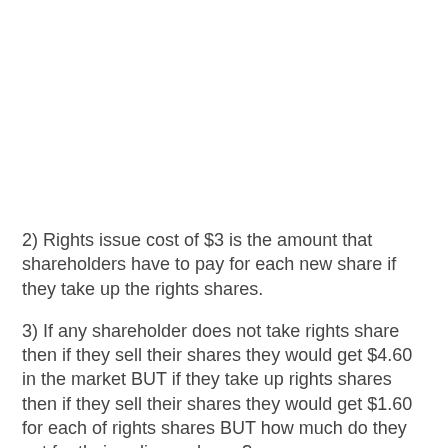2) Rights issue cost of $3 is the amount that shareholders have to pay for each new share if they take up the rights shares.
3) If any shareholder does not take rights share then if they sell their shares they would get $4.60 in the market BUT if they take up rights shares then if they sell their shares they would get $1.60 for each of rights shares BUT how much do they get for their ordinary shares?